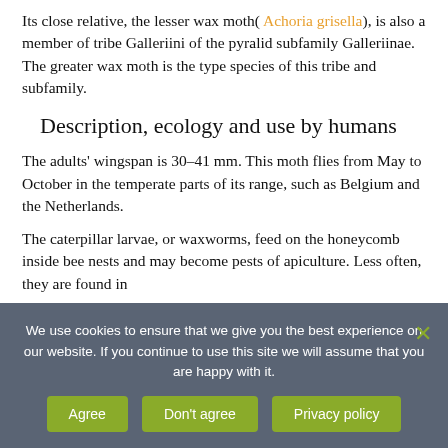Its close relative, the lesser wax moth( Achoria grisella), is also a member of tribe Galleriini of the pyralid subfamily Galleriinae. The greater wax moth is the type species of this tribe and subfamily.
Description, ecology and use by humans
The adults' wingspan is 30–41 mm. This moth flies from May to October in the temperate parts of its range, such as Belgium and the Netherlands.
The caterpillar larvae, or waxworms, feed on the honeycomb inside bee nests and may become pests of apiculture. Less often, they are found in
We use cookies to ensure that we give you the best experience on our website. If you continue to use this site we will assume that you are happy with it.